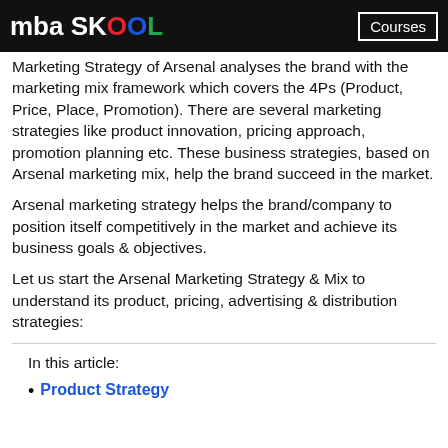mba SKOOL | Courses
Marketing Strategy of Arsenal analyses the brand with the marketing mix framework which covers the 4Ps (Product, Price, Place, Promotion). There are several marketing strategies like product innovation, pricing approach, promotion planning etc. These business strategies, based on Arsenal marketing mix, help the brand succeed in the market.
Arsenal marketing strategy helps the brand/company to position itself competitively in the market and achieve its business goals & objectives.
Let us start the Arsenal Marketing Strategy & Mix to understand its product, pricing, advertising & distribution strategies:
In this article:
Product Strategy